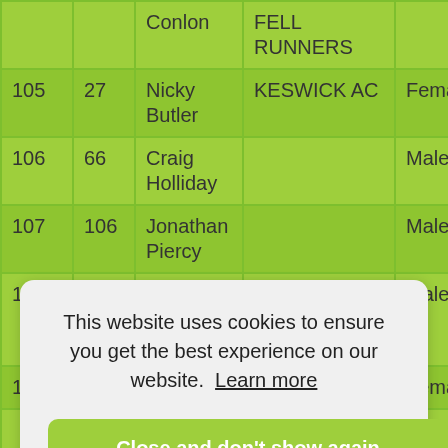| # | Bib | Name | Club | Gender | Cat Pos |  |
| --- | --- | --- | --- | --- | --- | --- |
|  |  | Conlon | FELL RUNNERS |  |  |  |
| 105 | 27 | Nicky Butler | KESWICK AC | Female | 32 | V |
| 106 | 66 | Craig Holliday |  | Male | 74 | C |
| 107 | 106 | Jonathan Piercy |  | Male | 75 | C |
| 108 | 93 | Nick Moore | CUMBERLAND FELL RUNNERS | Male | 76 | V |
| 109 | 116 | Jenny | NORTHERN | Female | 33 | V |
|  |  |  |  |  |  | V |
|  |  |  | FELL RUNNERS |  |  | V |
This website uses cookies to ensure you get the best experience on our website. Learn more
Close and don't show again